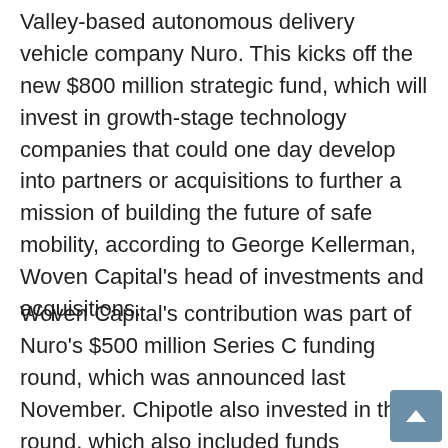Valley-based autonomous delivery vehicle company Nuro. This kicks off the new $800 million strategic fund, which will invest in growth-stage technology companies that could one day develop into partners or acquisitions to further a mission of building the future of safe mobility, according to George Kellerman, Woven Capital's head of investments and acquisitions.
Woven Capital's contribution was part of Nuro's $500 million Series C funding round, which was announced last November. Chipotle also invested in the round, which also included funds managed by T. Rowe Price Associates, Inc., with participation from new investors Fidelity Management & Research Company, LLC and Baillie Gifford. The specific